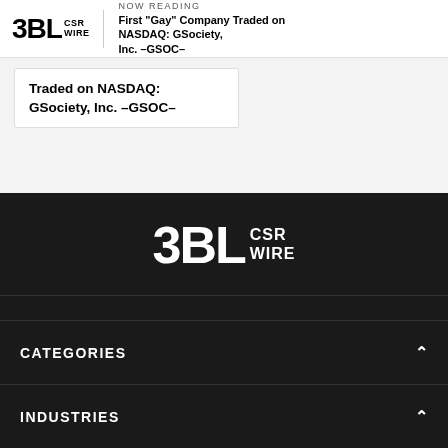3BL CSR WIRE | NOW READING First "Gay" Company Traded on NASDAQ: GSociety, Inc. -GSOC-
Traded on NASDAQ: GSociety, Inc. -GSOC-
[Figure (logo): 3BL CSR WIRE logo in white on dark background]
CATEGORIES
INDUSTRIES